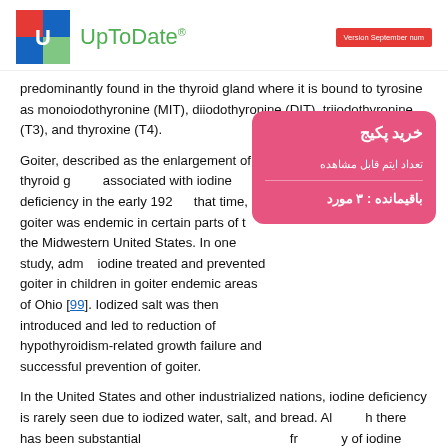UpToDate® — Version September num
predominantly found in the thyroid gland where it is bound to tyrosine as monoiodothyronine (MIT), diiodothyronine (DIT), triiodothyronine (T3), and thyroxine (T4).
Goiter, described as the enlargement of thyroid gland, was associated with iodine deficiency in the early 192... that time, goiter was endemic in certain parts of the Midwestern United States. In one study, adm... iodine treated and prevented goiter in children in goiter endemic areas of Ohio [99]. Iodized salt was then introduced and led to reduction of hypothyroidism-related growth failure and successful prevention of goiter.
In the United States and other industrialized nations, iodine deficiency is rarely seen due to iodized water, salt, and bread. Although there has been substantial progress in reducing the frequency of iodine deficiency worldwide, it remains a major public health issue in parts of the world where its